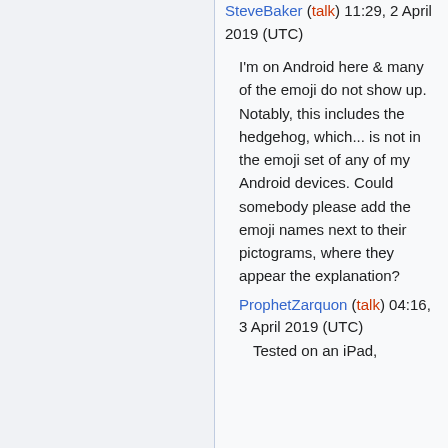SteveBaker (talk) 11:29, 2 April 2019 (UTC)
I'm on Android here & many of the emoji do not show up. Notably, this includes the hedgehog, which... is not in the emoji set of any of my Android devices. Could somebody please add the emoji names next to their pictograms, where they appear the explanation?
ProphetZarquon (talk) 04:16, 3 April 2019 (UTC)
Tested on an iPad,